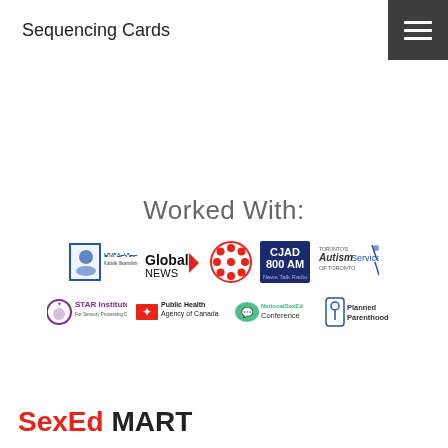Sequencing Cards
Worked With:
[Figure (logo): Row of partner organization logos: Kativik Ilisarniliriniq, Global News, CBC, CJAD 800 AM, Toronto Autism Services of Toronto, STAR Institute, Public Health Agency of Canada, NationalSexEd Conference, Planned Parenthood]
SexEd MART